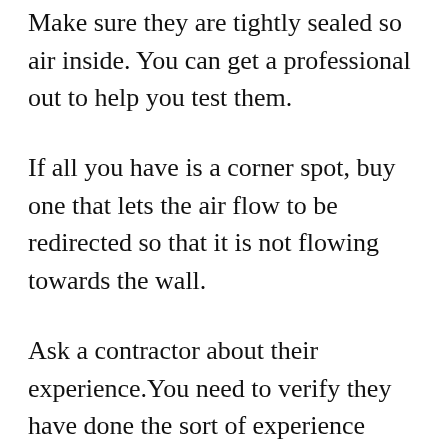Make sure they are tightly sealed so air inside. You can get a professional out to help you test them.
If all you have is a corner spot, buy one that lets the air flow to be redirected so that it is not flowing towards the wall.
Ask a contractor about their experience.You need to verify they have done the sort of experience needed to work you require.
Always make sure to get some references prior to hiring any contractor.
Cover your condenser when the winter time. This can do it but also makes you more it...